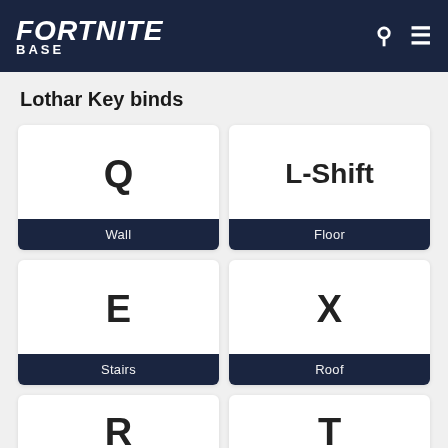FORTNITE BASE
Lothar Key binds
| Key | Action |
| --- | --- |
| Q | Wall |
| L-Shift | Floor |
| E | Stairs |
| X | Roof |
| R |  |
| T |  |